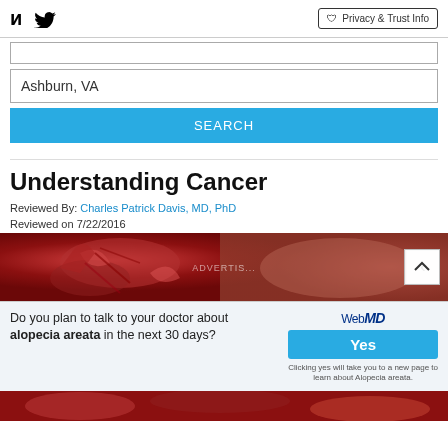Facebook Twitter | Privacy & Trust Info
Ashburn, VA
SEARCH
Understanding Cancer
Reviewed By: Charles Patrick Davis, MD, PhD
Reviewed on 7/22/2016
[Figure (photo): Medical illustration of cancer cells with red organic tissue background]
Do you plan to talk to your doctor about alopecia areata in the next 30 days?
WebMD Yes
Clicking yes will take you to a new page to learn about Alopecia areata.
[Figure (photo): Bottom portion of cancer cells medical illustration]